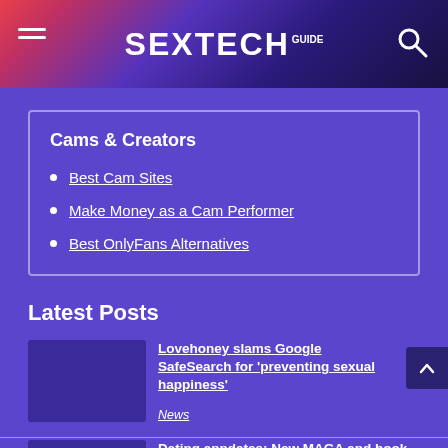SEXTECH GUIDE
Cams & Creators
Best Cam Sites
Make Money as a Cam Performer
Best OnlyFans Alternatives
Latest Posts
Lovehoney slams Google SafeSearch for 'preventing sexual happiness'
News
Dating appdates: New MAGA and book lover matchmaking apps, plus small dogs mean